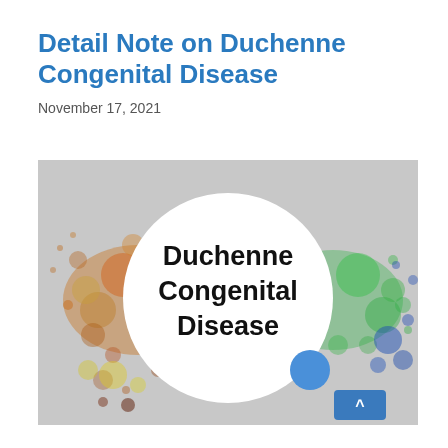Detail Note on Duchenne Congenital Disease
November 17, 2021
[Figure (illustration): Decorative header image with colorful paint splatter (orange, teal, green, blue) on a gray background, with a large white circle in the center containing bold black text 'Duchenne Congenital Disease', and a blue circle element to the lower right of center. A blue scroll-to-top button with an up arrow appears in the bottom-right corner.]